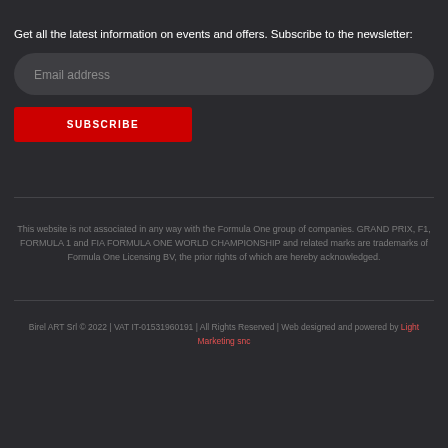Get all the latest information on events and offers. Subscribe to the newsletter:
[Figure (other): Email address input field with rounded rectangle style]
[Figure (other): Red SUBSCRIBE button]
This website is not associated in any way with the Formula One group of companies. GRAND PRIX, F1, FORMULA 1 and FIA FORMULA ONE WORLD CHAMPIONSHIP and related marks are trademarks of Formula One Licensing BV, the prior rights of which are hereby acknowledged.
Birel ART Srl © 2022 | VAT IT-01531960191 | All Rights Reserved | Web designed and powered by Light Marketing snc